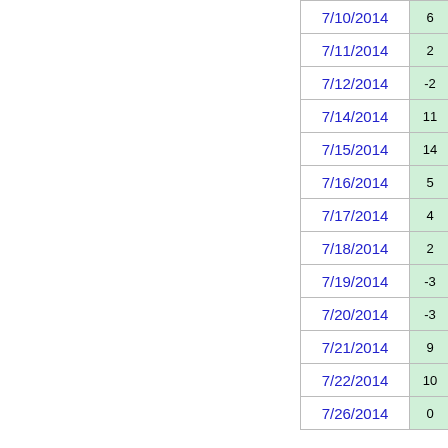| Date | Val1 | Icon1 | Val2 | Icon2 |
| --- | --- | --- | --- | --- |
| 7/10/2014 | 6 |  | 8 |  |
| 7/11/2014 | 2 |  | 0 |  |
| 7/12/2014 | -2 |  | 4 |  |
| 7/14/2014 | 11 |  | 27 |  |
| 7/15/2014 | 14 |  | 3 |  |
| 7/16/2014 | 5 |  | 6 |  |
| 7/17/2014 | 4 |  | 7 |  |
| 7/18/2014 | 2 |  | 17 |  |
| 7/19/2014 | -3 |  | 7 |  |
| 7/20/2014 | -3 |  | 8 |  |
| 7/21/2014 | 9 |  | 13 |  |
| 7/22/2014 | 10 |  | 9 |  |
| 7/26/2014 | 0 |  | 3 |  |